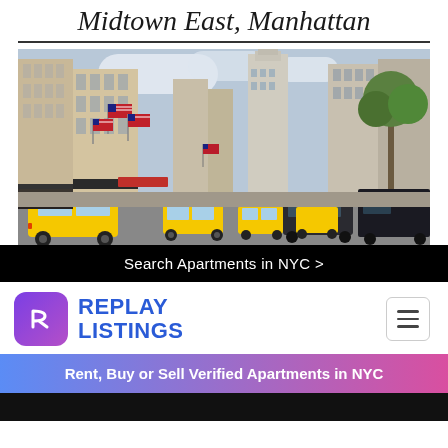Midtown East, Manhattan
[Figure (photo): Street-level photo of Midtown Manhattan showing Fifth Avenue with yellow taxis, tall office buildings, American flags, retail storefronts with red awnings, and a tree on the right side]
Search Apartments in NYC >
[Figure (logo): Replay Listings logo: purple rounded-square icon with white play-button R symbol, next to bold blue text reading REPLAY LISTINGS, and a hamburger menu button on the right]
Rent, Buy or Sell Verified Apartments in NYC